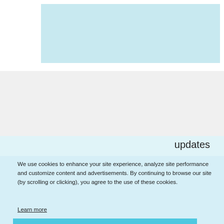[Figure (screenshot): Light blue banner/image area at top of page]
updates
[Figure (screenshot): Email input field (white rectangle)]
[Figure (screenshot): Light blue subscribe button]
[Figure (screenshot): reCAPTCHA widget with logo, Privacy and Terms links]
We use cookies to enhance your site experience, analyze site performance and customize content and advertisements. By continuing to browse our site (by scrolling or clicking), you agree to the use of these cookies.
Learn more
Accept